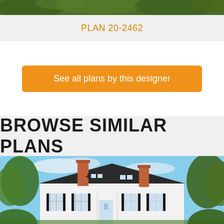[Figure (photo): Top strip showing green foliage/trees]
PLAN 20-2462
See all plans by this designer
BROWSE SIMILAR PLANS
[Figure (photo): Exterior photo of a colonial-style house with brick chimneys, dormers, and white siding surrounded by trees under a blue sky]